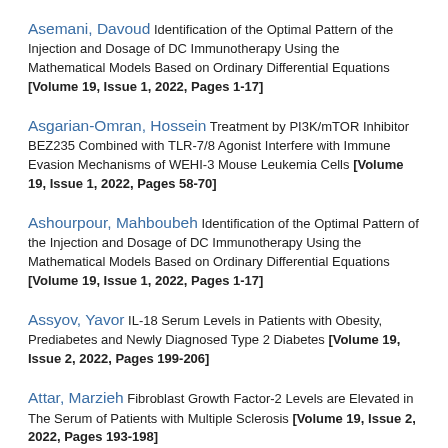Asemani, Davoud Identification of the Optimal Pattern of the Injection and Dosage of DC Immunotherapy Using the Mathematical Models Based on Ordinary Differential Equations [Volume 19, Issue 1, 2022, Pages 1-17]
Asgarian-Omran, Hossein Treatment by PI3K/mTOR Inhibitor BEZ235 Combined with TLR-7/8 Agonist Interfere with Immune Evasion Mechanisms of WEHI-3 Mouse Leukemia Cells [Volume 19, Issue 1, 2022, Pages 58-70]
Ashourpour, Mahboubeh Identification of the Optimal Pattern of the Injection and Dosage of DC Immunotherapy Using the Mathematical Models Based on Ordinary Differential Equations [Volume 19, Issue 1, 2022, Pages 1-17]
Assyov, Yavor IL-18 Serum Levels in Patients with Obesity, Prediabetes and Newly Diagnosed Type 2 Diabetes [Volume 19, Issue 2, 2022, Pages 199-206]
Attar, Marzieh Fibroblast Growth Factor-2 Levels are Elevated in The Serum of Patients with Multiple Sclerosis [Volume 19, Issue 2, 2022, Pages 193-198]